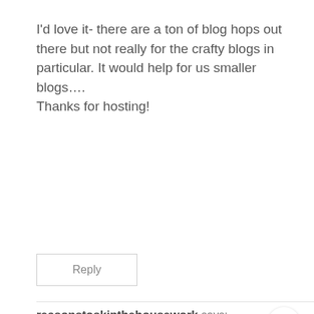I'd love it- there are a ton of blog hops out there but not really for the crafty blogs in particular. It would help for us smaller blogs….
Thanks for hosting!
Reply
reasonstoskipthehousework says:
February 20, 2011 at 10:11 pm
I'd love it. I'd absolutely participate!
[Figure (screenshot): What's Next promotional box with image and text 'FREE SVG Cut Files for Cri...']
[Figure (screenshot): Advertisement bar: Walgreens 'Save This Fall! BOGO Free Vitamins and Supplements']